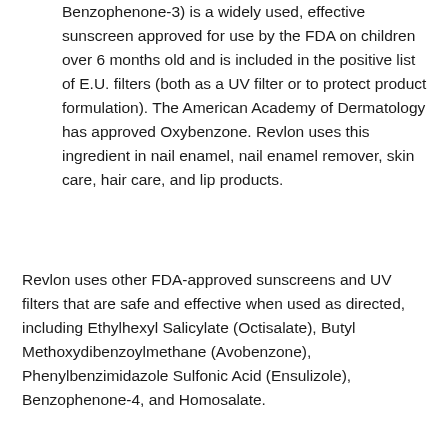Benzophenone-3) is a widely used, effective sunscreen approved for use by the FDA on children over 6 months old and is included in the positive list of E.U. filters (both as a UV filter or to protect product formulation). The American Academy of Dermatology has approved Oxybenzone. Revlon uses this ingredient in nail enamel, nail enamel remover, skin care, hair care, and lip products.
Revlon uses other FDA-approved sunscreens and UV filters that are safe and effective when used as directed, including Ethylhexyl Salicylate (Octisalate), Butyl Methoxydibenzoylmethane (Avobenzone), Phenylbenzimidazole Sulfonic Acid (Ensulizole), Benzophenone-4, and Homosalate.